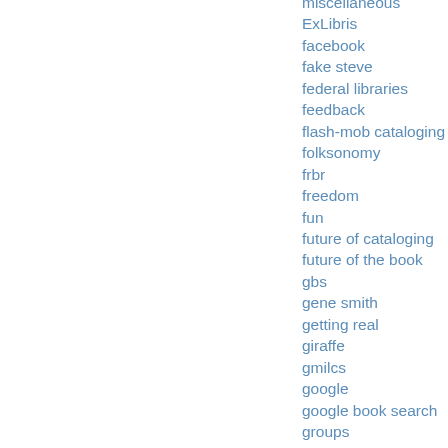miscellaneous
ExLibris
facebook
fake steve
federal libraries
feedback
flash-mob cataloging
folksonomy
frbr
freedom
fun
future of cataloging
future of the book
gbs
gene smith
getting real
giraffe
gmilcs
google
google book search
groups
guardian
harry potter
harvard coop
hidden images
hiring
homophily
houghton mifflin
humor
iBistro
iii
il2008
indexing